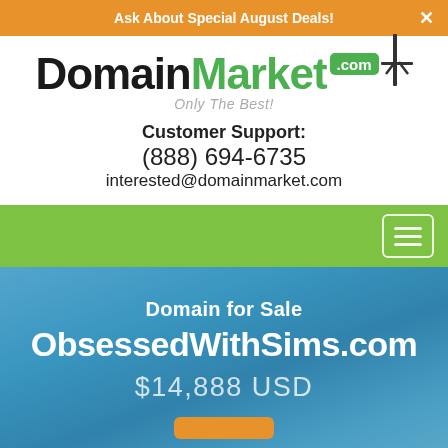Ask About Special August Deals!
[Figure (logo): DomainMarket.com logo with green sign and tagline 'Only The Best!']
Customer Support:
(888) 694-6735
interested@domainmarket.com
Domain for Sale
ObsessedWithSims.com
$14,888 USD